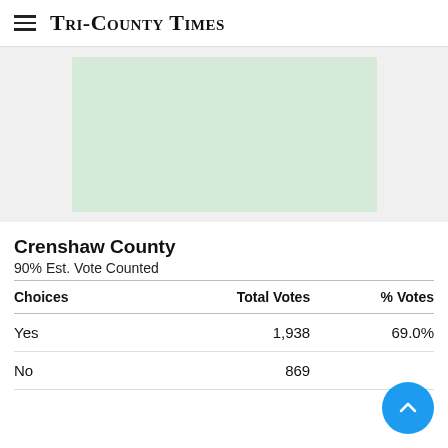Tri-County Times
[Figure (other): Light green advertisement or image placeholder box]
Crenshaw County
90% Est. Vote Counted
| Choices | Total Votes | % Votes |
| --- | --- | --- |
| Yes | 1,938 | 69.0% |
| No | 869 | 31.0% |